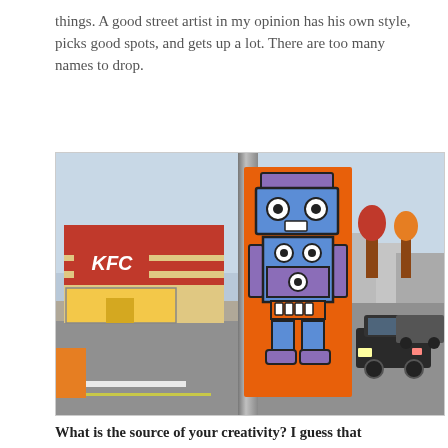things. A good street artist in my opinion has his own style, picks good spots, and gets up a lot. There are too many names to drop.
[Figure (photo): A colorful street art sticker of a cartoon robot character (blue and purple, on an orange background) affixed to a utility pole. In the background is a KFC restaurant on the left and cars and trees on the right.]
What is the source of your creativity? I guess that